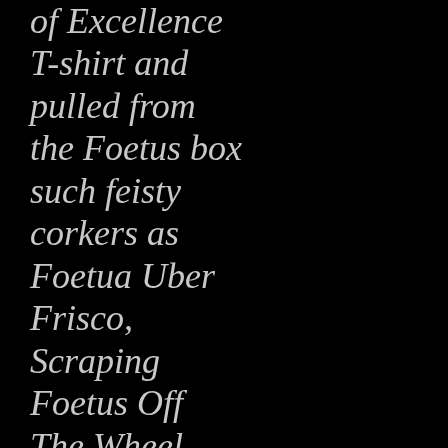of Excellence T-shirt and pulled from the Foetus box such feisty corkers as Foetua Uber Frisco, Scraping Foetus Off The Wheel, the Foetus All-Nude Revue, Wiseblood, Foetus Art T...